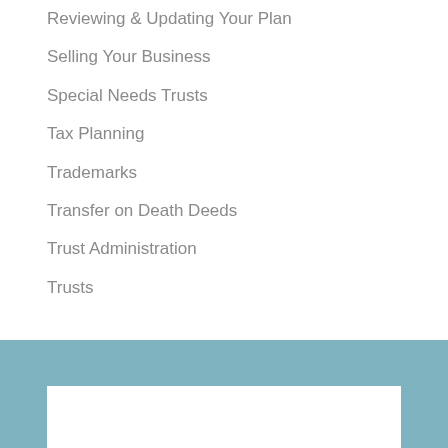Reviewing & Updating Your Plan
Selling Your Business
Special Needs Trusts
Tax Planning
Trademarks
Transfer on Death Deeds
Trust Administration
Trusts
[Figure (other): Teal/blue footer band with white rectangular inset box at bottom of page]